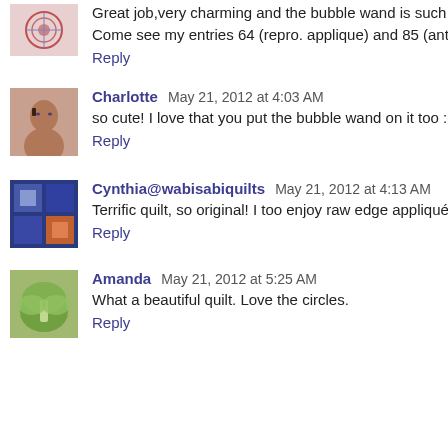Great job,very charming and the bubble wand is such a grea
Come see my entries 64 (repro. applique) and 85 (antique ap
Reply
Charlotte  May 21, 2012 at 4:03 AM
so cute! I love that you put the bubble wand on it too :-D
Reply
Cynthia@wabisabiquilts  May 21, 2012 at 4:13 AM
Terrific quilt, so original! I too enjoy raw edge appliqué for the
Reply
Amanda  May 21, 2012 at 5:25 AM
What a beautiful quilt. Love the circles.
Reply